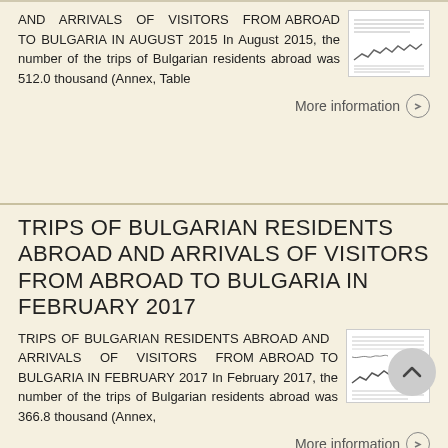AND ARRIVALS OF VISITORS FROM ABROAD TO BULGARIA IN AUGUST 2015 In August 2015, the number of the trips of Bulgarian residents abroad was 512.0 thousand (Annex, Table
More information →
TRIPS OF BULGARIAN RESIDENTS ABROAD AND ARRIVALS OF VISITORS FROM ABROAD TO BULGARIA IN FEBRUARY 2017
TRIPS OF BULGARIAN RESIDENTS ABROAD AND ARRIVALS OF VISITORS FROM ABROAD TO BULGARIA IN FEBRUARY 2017 In February 2017, the number of the trips of Bulgarian residents abroad was 366.8 thousand (Annex,
More information →
TRIPS OF BULGARIAN RESIDENTS ABROAD